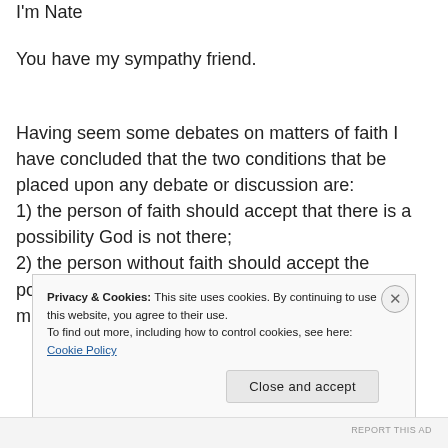I'm Nate
You have my sympathy friend.
Having seem some debates on matters of faith I have concluded that the two conditions that be placed upon any debate or discussion are: 1) the person of faith should accept that there is a possibility God is not there; 2) the person without faith should accept the possibility that God is there and therefore that miracles are possible.
Privacy & Cookies: This site uses cookies. By continuing to use this website, you agree to their use. To find out more, including how to control cookies, see here: Cookie Policy
Close and accept